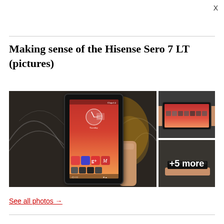X
Making sense of the Hisense Sero 7 LT (pictures)
[Figure (photo): Three-panel photo grid showing the Hisense Sero 7 LT tablet. Left (main): large photo of a hand holding the tablet with Android home screen showing red/orange gradient background with clock widget and app icons. Top right: hand holding tablet in landscape orientation. Bottom right: dark photo showing tablet edge-on with '+5 more' overlay text.]
See all photos →